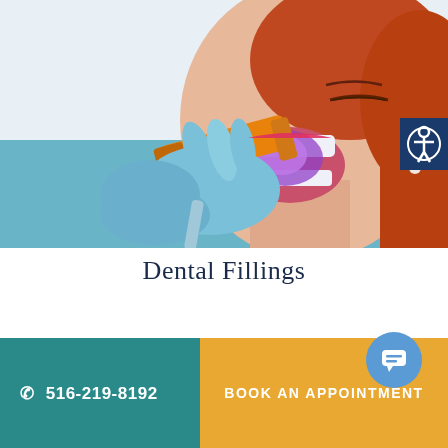[Figure (photo): A woman patient receiving a dental filling procedure. A dentist in blue gloves holds an orange UV curing light tool near her open mouth. The woman has red hair and a blue patient bib. Bright purple UV light is visible inside her mouth.]
Dental Fillings
[Figure (other): Accessibility icon button — white figure in circle on dark navy blue background]
516-219-8192   BOOK AN APPOINTMENT
[Figure (other): Blue chat bubble button with chat lines icon]